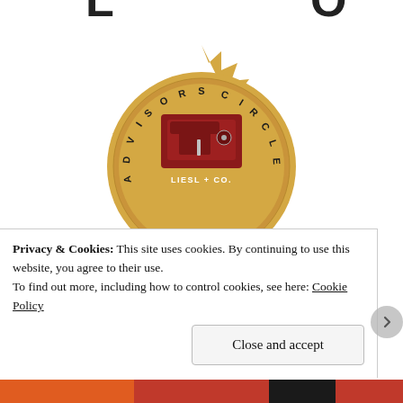[Figure (illustration): Liesl + Co. Advisors Circle award medal/rosette. A gold starburst medallion with a sewing machine icon in dark red at the center, labeled 'LIESL + CO.' beneath the icon. Around the inner circle the text 'ADVISORS CIRCLE' curves. Below the gold medallion hang two dark red/crimson ribbon tails forming a V-shape. The top of the image shows partial text 'L' and 'O' cut off at the top edge.]
Privacy & Cookies: This site uses cookies. By continuing to use this website, you agree to their use.
To find out more, including how to control cookies, see here: Cookie Policy
Close and accept